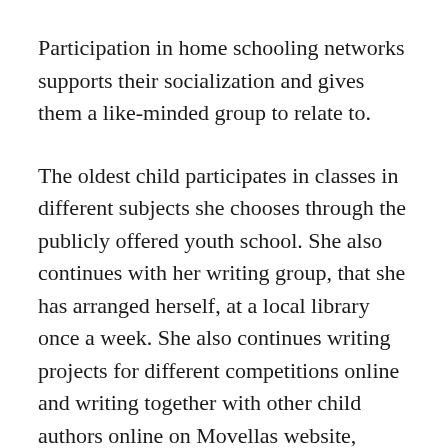Participation in home schooling networks supports their socialization and gives them a like-minded group to relate to.
The oldest child participates in classes in different subjects she chooses through the publicly offered youth school. She also continues with her writing group, that she has arranged herself, at a local library once a week. She also continues writing projects for different competitions online and writing together with other child authors online on Movellas website, where she also helps correct their texts for misspellings and gives input on the storyline. The second oldest child